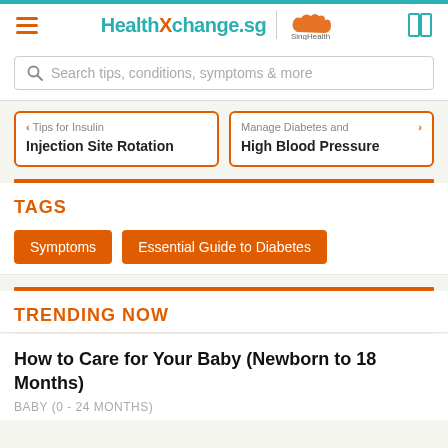HealthXchange.sg | SingHealth
Search tips, conditions, symptoms & more
Tips for Insulin Injection Site Rotation
Manage Diabetes and High Blood Pressure
TAGS
Symptoms
Essential Guide to Diabetes
TRENDING NOW
How to Care for Your Baby (Newborn to 18 Months)
BABY (0 - 24 MONTHS)